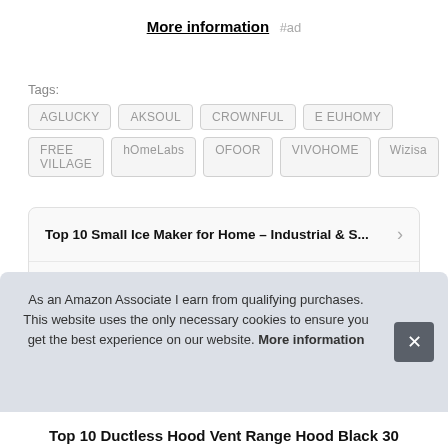More information #ad
Tags: AGLUCKY AKSOUL CROWNFUL E EUHOMY FREE VILLAGE hOmeLabs OFOOR VIVOHOME Wizisa
Top 10 Small Ice Maker for Home – Industrial & S...
Top 8 Dishwasher Rack Repair Kit Gray – Dishwas...
As an Amazon Associate I earn from qualifying purchases. This website uses the only necessary cookies to ensure you get the best experience on our website. More information
Top 10 Ductless Hood Vent Range Hood Black 30